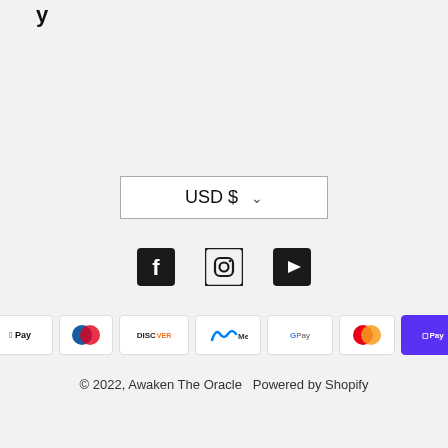y
USD $
[Figure (logo): Social media icons: Facebook, Instagram, YouTube]
[Figure (logo): Payment method icons: AMEX, Apple Pay, Diners Club, Discover, Meta Pay, Google Pay, Mastercard, Shop Pay, Visa]
© 2022, Awaken The Oracle  Powered by Shopify